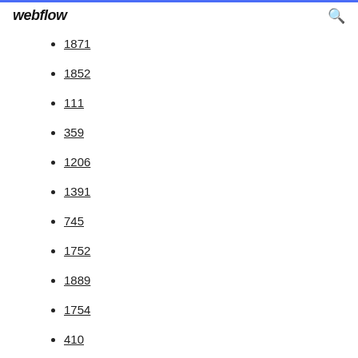webflow
1871
1852
111
359
1206
1391
745
1752
1889
1754
410
511
1757